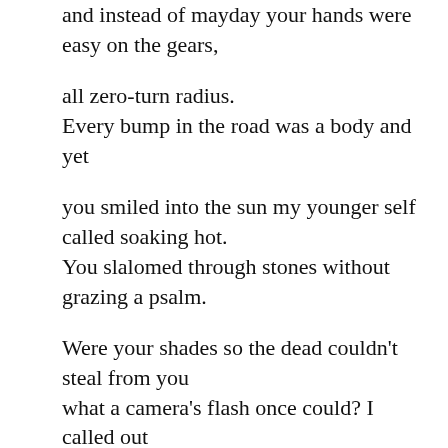and instead of mayday your hands were easy on the gears,

all zero-turn radius.
Every bump in the road was a body and yet

you smiled into the sun my younger self called soaking hot.
You slalomed through stones without grazing a psalm.

Were your shades so the dead couldn't steal from you
what a camera's flash once could? I called out

but you didn't turn. Behind you, a woman kneeling over a grave
whispered with her hands clasped behind her head